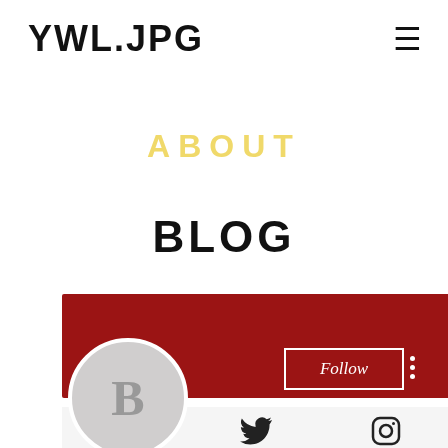YWL.JPG ≡
ABOUT
BLOG
[Figure (screenshot): Red banner profile card with a circular avatar placeholder showing letter B, a Follow button, and a three-dot menu]
[Figure (infographic): Social media icon bar showing Facebook, Twitter, and Instagram icons]